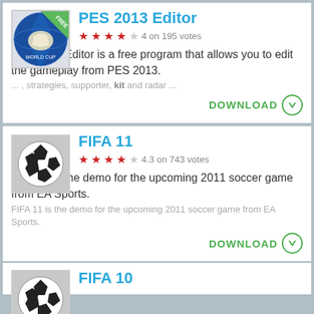[Figure (illustration): PES 2013 Editor app icon with blue world cup globe and FREE badge in green corner]
PES 2013 Editor
4 on 195 votes
PES 2013 Editor is a free program that allows you to edit the gameplay from PES 2013.
... , strategies, supporter, kit and radar ...
DOWNLOAD
[Figure (illustration): FIFA 11 app icon with soccer ball on grey background]
FIFA 11
4.3 on 743 votes
FIFA 11 is the demo for the upcoming 2011 soccer game from EA Sports.
FIFA 11 is the demo for the upcoming 2011 soccer game from EA Sports.
DOWNLOAD
[Figure (illustration): FIFA 10 app icon with soccer ball on grey background (partially visible)]
FIFA 10